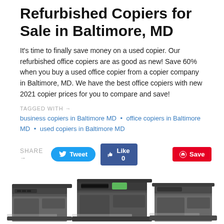Refurbished Copiers for Sale in Baltimore, MD
It's time to finally save money on a used copier. Our refurbished office copiers are as good as new! Save 60% when you buy a used office copier from a copier company in Baltimore, MD. We have the best office copiers with new 2021 copier prices for you to compare and save!
TAGGED WITH → business copiers in Baltimore MD • office copiers in Baltimore MD • used copiers in Baltimore MD
SHARE → Tweet  Like 0  Save
[Figure (photo): Photo of multiple refurbished office copiers/multifunction printers lined up together]